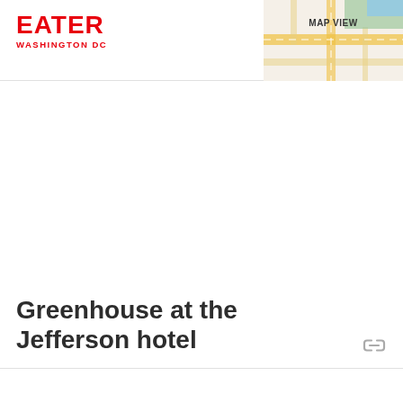EATER WASHINGTON DC
[Figure (map): MAP VIEW thumbnail showing a partial street map with green and yellow road markings]
Greenhouse at the Jefferson hotel